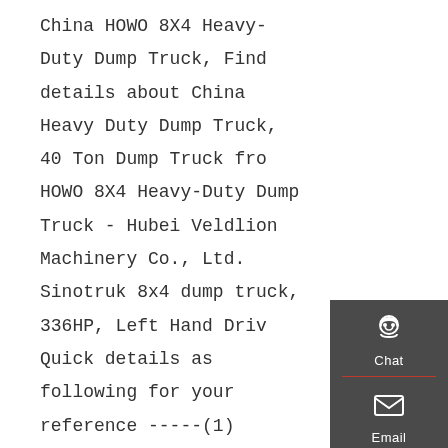China HOWO 8X4 Heavy-Duty Dump Truck, Find details about China Heavy Duty Dump Truck, 40 Ton Dump Truck from HOWO 8X4 Heavy-Duty Dump Truck - Hubei Veldlion Machinery Co., Ltd. Sinotruk 8x4 dump truck, 336HP, Left Hand Drive. Quick details as following for your reference -----(1) Chassis:ZZ3317, HOWO 8x4
[Figure (infographic): Dark sidebar panel with three action buttons: Chat (headset icon), Email (envelope icon), Contact (speech bubble icon), and a Top (up arrow) button, separated by red dividers.]